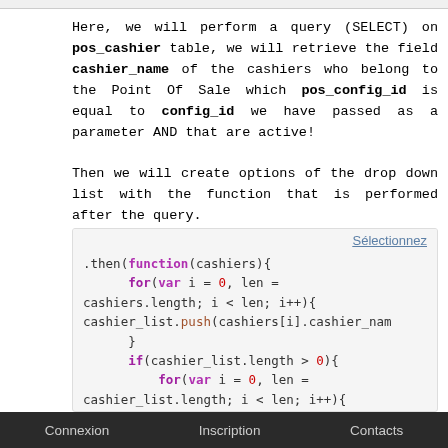Here, we will perform a query (SELECT) on pos_cashier table, we will retrieve the field cashier_name of the cashiers who belong to the Point Of Sale which pos_config_id is equal to config_id we have passed as a parameter AND that are active!
Then we will create options of the drop down list with the function that is performed after the query.
[Figure (screenshot): Code block showing JavaScript .then(function(cashiers){ for(var i = 0, len = cashiers.length; i < len; i++){ cashier_list.push(cashiers[i].cashier_nam } if(cashier_list.length > 0){ for(var i = 0, len = cashier_list.length; i < len; i++){]
Connexion   Inscription   Contacts